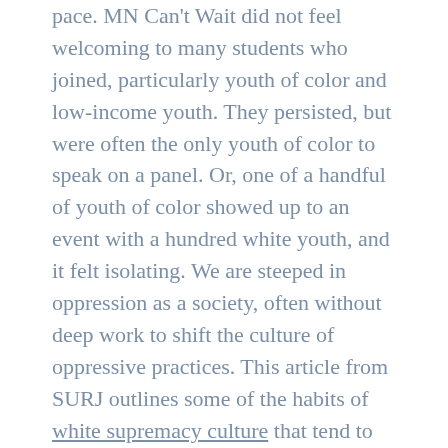pace. MN Can't Wait did not feel welcoming to many students who joined, particularly youth of color and low-income youth. They persisted, but were often the only youth of color to speak on a panel. Or, one of a handful of youth of color showed up to an event with a hundred white youth, and it felt isolating. We are steeped in oppression as a society, often without deep work to shift the culture of oppressive practices. This article from SURJ outlines some of the habits of white supremacy culture that tend to play out in white-dominant organizations, that happened in MN Can't Wait.
In April, MN Can't Wait made the difficult decision to halt public facing work in order to